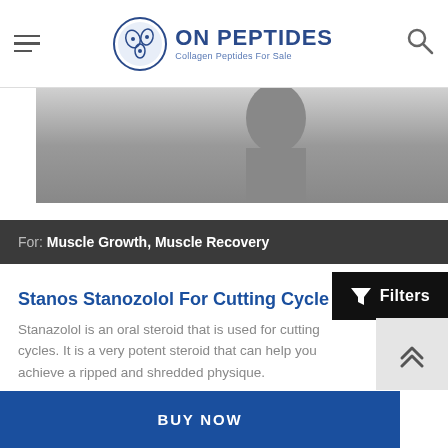ON PEPTIDES — Collagen Peptides For Sale
[Figure (photo): Grayscale photograph partially visible at top of page]
For: Muscle Growth, Muscle Recovery
Stanos Stanozolol For Cutting Cycle
Stanazolol is an oral steroid that is used for cutting cycles. It is a very potent steroid that can help you achieve a ripped and shredded physique.
Filters
BUY NOW